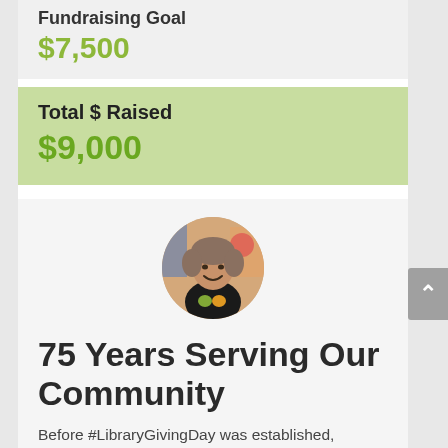Fundraising Goal
$7,500
Total $ Raised
$9,000
[Figure (photo): Circular profile photo of a smiling woman wearing a black shirt with colorful logo, in what appears to be a library setting]
75 Years Serving Our Community
Before #LibraryGivingDay was established, Whatcom County Library